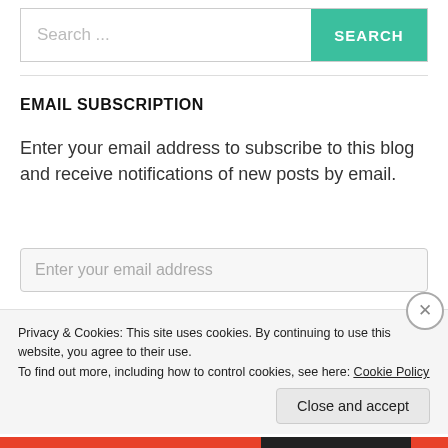[Figure (screenshot): Search bar with placeholder text 'Search ...' and a teal 'SEARCH' button]
EMAIL SUBSCRIPTION
Enter your email address to subscribe to this blog and receive notifications of new posts by email.
[Figure (screenshot): Email address input field with placeholder 'Enter your email address']
[Figure (screenshot): Black 'Sign me up!' button]
Privacy & Cookies: This site uses cookies. By continuing to use this website, you agree to their use.
To find out more, including how to control cookies, see here: Cookie Policy
Close and accept